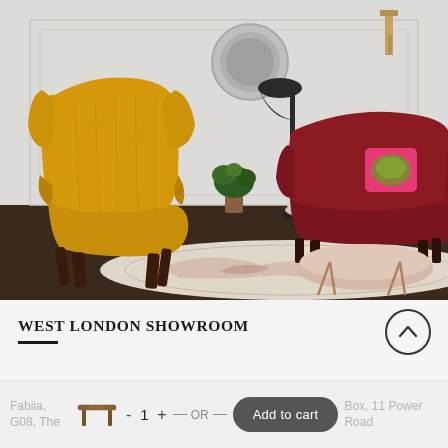[Figure (photo): Interior showroom photo showing a yellow velvet wingback armchair on the left, a dark red velvet loveseat sofa on the right with a pink decorative pillow, a round silver mirror on the wall, a black arc floor lamp, houseplants, a patterned area rug, and a rose gold round coffee table with hairpin legs on a white-walled room with dark hardwood floors.]
WEST LONDON SHOWROOM
Fabiia, G08, The Box, 11 Power Road